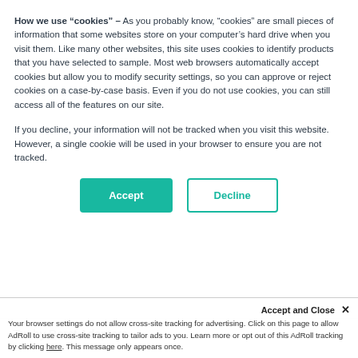How we use “cookies” – As you probably know, “cookies” are small pieces of information that some websites store on your computer’s hard drive when you visit them. Like many other websites, this site uses cookies to identify products that you have selected to sample. Most web browsers automatically accept cookies but allow you to modify security settings, so you can approve or reject cookies on a case-by-case basis. Even if you do not use cookies, you can still access all of the features on our site.
If you decline, your information will not be tracked when you visit this website. However, a single cookie will be used in your browser to ensure you are not tracked.
Accept
Decline
Tuohy Borst Adapters
Accept and Close ×
Your browser settings do not allow cross-site tracking for advertising. Click on this page to allow AdRoll to use cross-site tracking to tailor ads to you. Learn more or opt out of this AdRoll tracking by clicking here. This message only appears once.